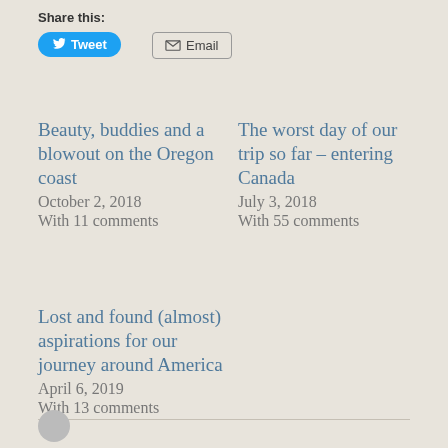Share this:
Tweet
Email
Beauty, buddies and a blowout on the Oregon coast
October 2, 2018
With 11 comments
The worst day of our trip so far – entering Canada
July 3, 2018
With 55 comments
Lost and found (almost) aspirations for our journey around America
April 6, 2019
With 13 comments